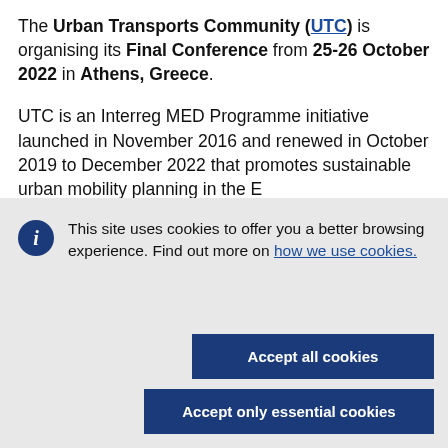The Urban Transports Community (UTC) is organising its Final Conference from 25-26 October 2022 in Athens, Greece.
UTC is an Interreg MED Programme initiative launched in November 2016 and renewed in October 2019 to December 2022 that promotes sustainable urban mobility planning in the E...
This site uses cookies to offer you a better browsing experience. Find out more on how we use cookies.
Accept all cookies
Accept only essential cookies